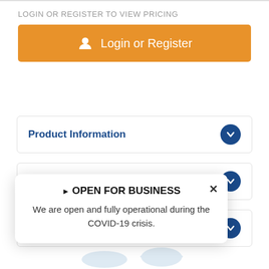LOGIN OR REGISTER TO VIEW PRICING
[Figure (other): Orange button with user icon labeled 'Login or Register']
Product Information
Specifications
▶ OPEN FOR BUSINESS
We are open and fully operational during the COVID-19 crisis.